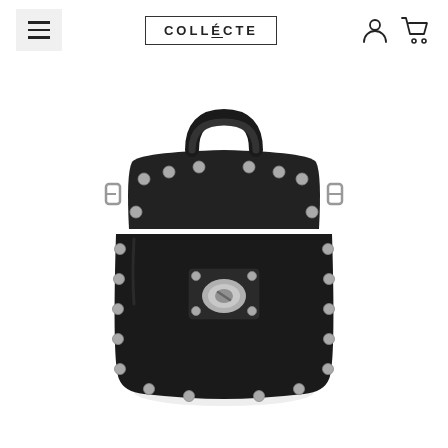COLLECTE — navigation header with menu, logo, account and cart icons
[Figure (photo): Black leather structured handbag with silver studs/rivets around the edges, a top handle, a flap closure with a silver turn-lock clasp, and D-ring attachments on the sides for a shoulder strap. The bag has a boxy, architectural shape. Photographed on a white background.]